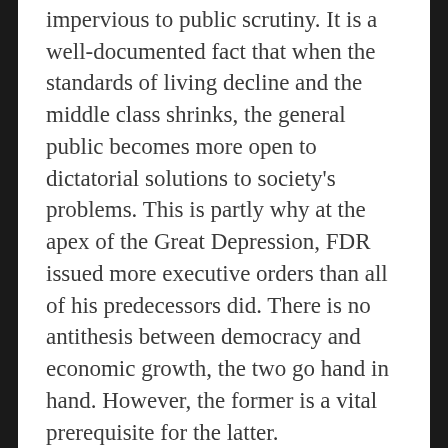impervious to public scrutiny. It is a well-documented fact that when the standards of living decline and the middle class shrinks, the general public becomes more open to dictatorial solutions to society's problems. This is partly why at the apex of the Great Depression, FDR issued more executive orders than all of his predecessors did. There is no antithesis between democracy and economic growth, the two go hand in hand. However, the former is a vital prerequisite for the latter.